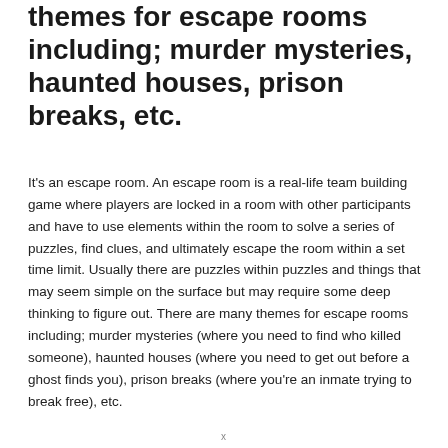themes for escape rooms including; murder mysteries, haunted houses, prison breaks, etc.
It's an escape room. An escape room is a real-life team building game where players are locked in a room with other participants and have to use elements within the room to solve a series of puzzles, find clues, and ultimately escape the room within a set time limit. Usually there are puzzles within puzzles and things that may seem simple on the surface but may require some deep thinking to figure out. There are many themes for escape rooms including; murder mysteries (where you need to find who killed someone), haunted houses (where you need to get out before a ghost finds you), prison breaks (where you're an inmate trying to break free), etc.
x